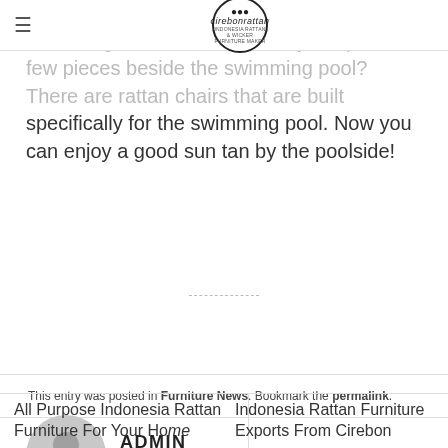cirebonrattan
You may already of thought of this. Since rattan is great for outdoors, why not place a few pieces beside the swimming pool? There are rattan chairs that are built specifically for the swimming pool. Now you can enjoy a good sun tan by the poolside!
This entry was posted in Furniture News. Bookmark the permalink.
[Figure (illustration): Circular avatar/profile image placeholder in gray]
ADMIN
All Purpose Indonesia Rattan Furniture For Your Home
Indonesia Rattan Furniture Exports From Cirebon